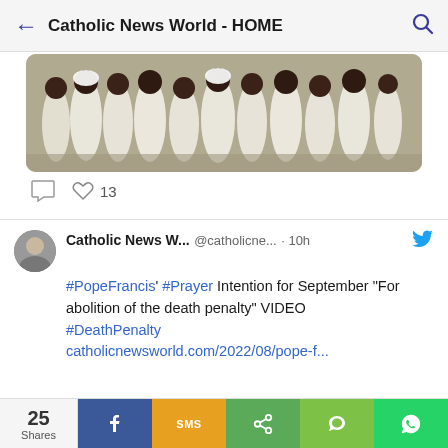Catholic News World - HOME
[Figure (photo): Group of people dressed in white clothing, posed together for a photo]
13 likes
Catholic News W... @catholicne... · 10h #PopeFrancis' #Prayer Intention for September "For abolition of the death penalty" VIDEO #DeathPenalty catholicnewsworld.com/2022/08/pope-f...
[Figure (photo): Partial image of Pope Francis, blurred/partial view at bottom of screen]
25 Shares